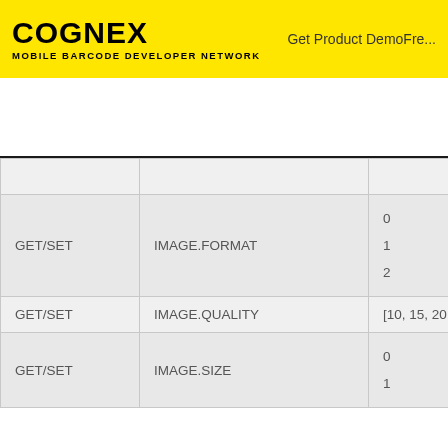COGNEX MOBILE BARCODE DEVELOPER NETWORK | Get Product DemoFre...
You are viewing the documentation of cmbSDK v2.6.x, which is no...
| GET/SET | IMAGE.FORMAT | 0
1
2 |
| GET/SET | IMAGE.QUALITY | [10, 15, 20, ...90] |
| GET/SET | IMAGE.SIZE | 0
1 |